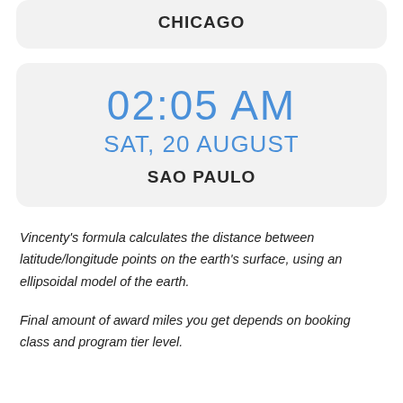CHICAGO
02:05 AM SAT, 20 AUGUST SAO PAULO
Vincenty's formula calculates the distance between latitude/longitude points on the earth's surface, using an ellipsoidal model of the earth.
Final amount of award miles you get depends on booking class and program tier level.